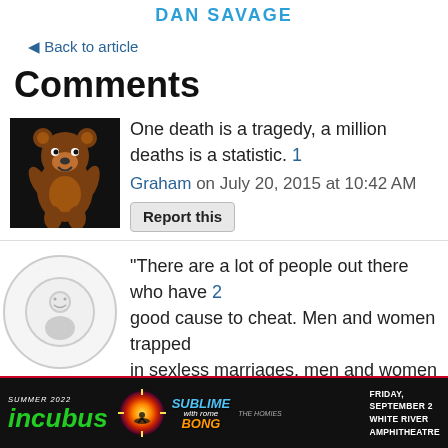DAN SAVAGE
← Back to article
Comments
[Figure (illustration): Avatar image of a cartoon bear character on black background]
One death is a tragedy, a million deaths is a statistic.  1
Graham on July 20, 2015 at 10:42 AM
Report this
[Figure (illustration): Gray circle avatar with smiley face icon]
"There are a lot of people out there who have  2  good cause to cheat. Men and women trapped in sexless marriages, men and women trapped
[Figure (advertisement): Incubus, Sublime with Rome concert ad. SUMMER 2022. FRIDAY, SEPTEMBER 2, WHITE RIVER AMPHITHEATRE]